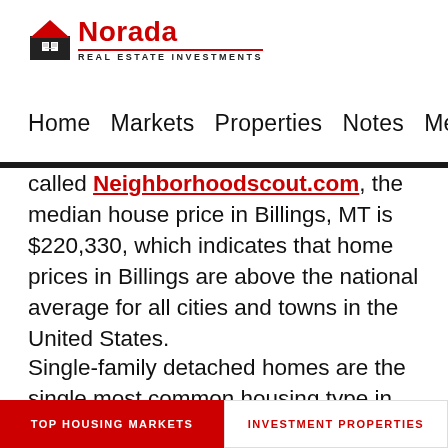[Figure (logo): Norada Real Estate Investments logo with house icon and red text]
Home  Markets  Properties  Notes  Members
called Neighborhoodscout.com, the median house price in Billings, MT is $220,330, which indicates that home prices in Billings are above the national average for all cities and towns in the United States.
Single-family detached homes are the single most common housing type in Billings, accounting for
TOP HOUSING MARKETS | INVESTMENT PROPERTIES